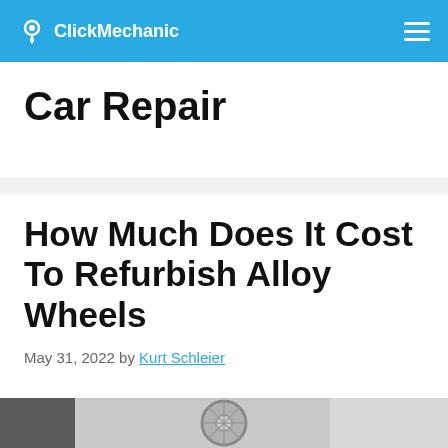ClickMechanic
Car Repair
How Much Does It Cost To Refurbish Alloy Wheels
May 31, 2022 by Kurt Schleier
[Figure (photo): Partial view of a refurbished alloy wheel, cropped at the bottom of the page]